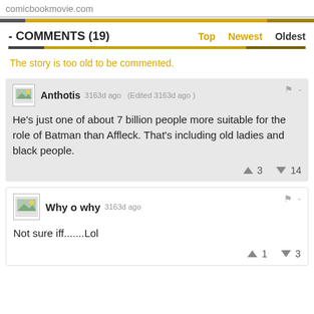comicbookmovie.com
- COMMENTS (19)
The story is too old to be commented.
Anthotis  3163d ago  (Edited 3163d ago)
He's just one of about 7 billion people more suitable for the role of Batman than Affleck. That's including old ladies and black people.
▲ 3  ▼ 14
Why o why  3163d ago
Not sure iff.......Lol
▲ 1  ▼ 3